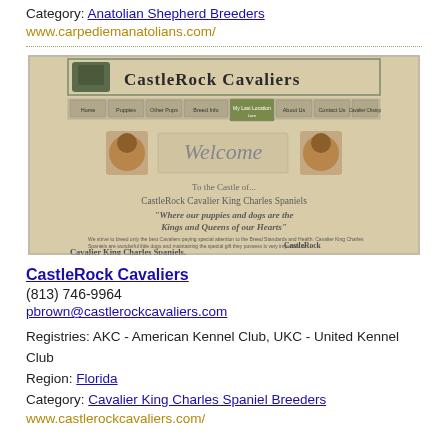Category: Anatolian Shepherd Breeders
www.carpediemanatolians.com/
[Figure (screenshot): Screenshot of CastleRock Cavaliers website homepage showing a beige background with a castle logo, navigation menu, two Cavalier King Charles Spaniel dog photos, a 'Welcome' banner, and text 'To the Castle of... CastleRock Cavalier King Charles Spaniels' with italic text 'Where our puppies and dogs are the Kings and Queens of our Hearts']
CastleRock Cavaliers
(813) 746-9964
pbrown@castlerockcavaliers.com
Registries: AKC - American Kennel Club, UKC - United Kennel Club
Region: Florida
Category: Cavalier King Charles Spaniel Breeders
www.castlerockcavaliers.com/